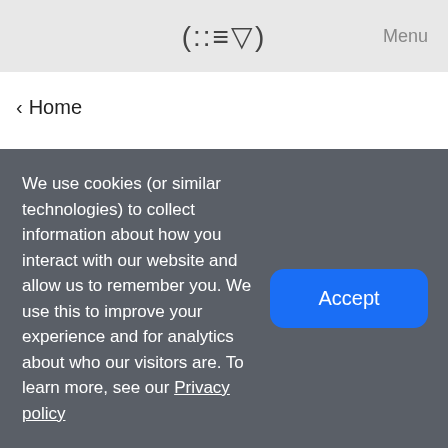(::≡▽)  Menu
< Home
Technology
Safety
Box
Privacy
Data
Devices
App
Community
All
We use cookies (or similar technologies) to collect information about how you interact with our website and allow us to remember you. We use this to improve your experience and for analytics about who our visitors are. To learn more, see our Privacy policy